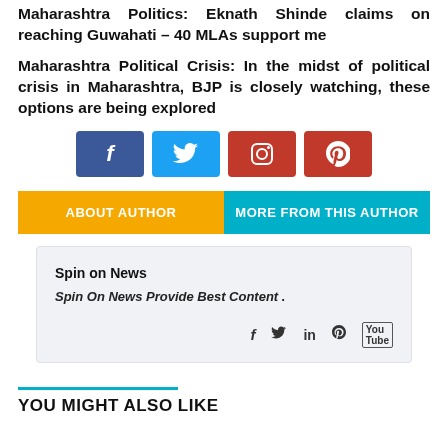Maharashtra Politics: Eknath Shinde claims on reaching Guwahati – 40 MLAs support me
Maharashtra Political Crisis: In the midst of political crisis in Maharashtra, BJP is closely watching, these options are being explored
[Figure (infographic): Social media share buttons: Facebook (blue), Twitter (light blue), Instagram (red), Pinterest (red)]
[Figure (infographic): Two tab buttons: ABOUT AUTHOR (orange) and MORE FROM THIS AUTHOR (cyan/teal)]
Spin on News
Spin On News Provide Best Content .
[Figure (infographic): Social media icons: Facebook, Twitter, LinkedIn, Pinterest, YouTube]
YOU MIGHT ALSO LIKE